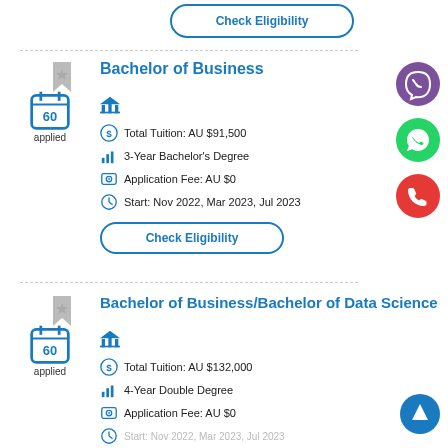Check Eligibility
Bachelor of Business
Total Tuition: AU $91,500
3-Year Bachelor's Degree
Application Fee: AU $0
Start: Nov 2022, Mar 2023, Jul 2023
Check Eligibility
Bachelor of Business/Bachelor of Data Science
Total Tuition: AU $132,000
4-Year Double Degree
Application Fee: AU $0
Start: Nov 2022, Mar 2023, Jul 2023